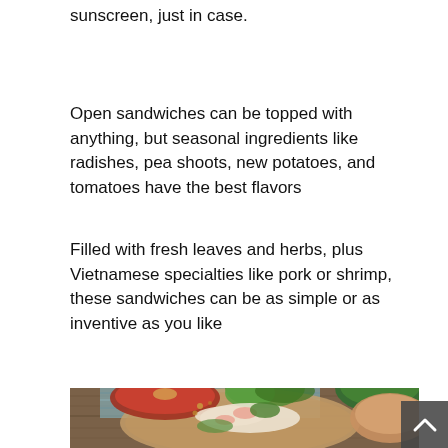sunscreen, just in case.
Open sandwiches can be topped with anything, but seasonal ingredients like radishes, pea shoots, new potatoes, and tomatoes have the best flavors
Filled with fresh leaves and herbs, plus Vietnamese specialties like pork or shrimp, these sandwiches can be as simple or as inventive as you like
[Figure (photo): Food photography showing Vietnamese spring rolls with shrimp and fresh herbs on a wooden board, accompanied by dipping sauces in bowls, shot from above on a wooden table with a light blue cloth]